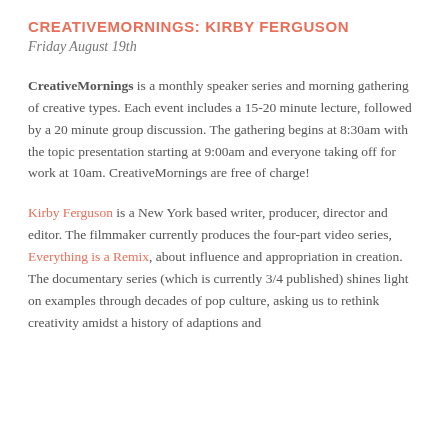CREATIVEMORNINGS: KIRBY FERGUSON
Friday August 19th
CreativeMornings is a monthly speaker series and morning gathering of creative types. Each event includes a 15-20 minute lecture, followed by a 20 minute group discussion. The gathering begins at 8:30am with the topic presentation starting at 9:00am and everyone taking off for work at 10am. CreativeMornings are free of charge!
Kirby Ferguson is a New York based writer, producer, director and editor. The filmmaker currently produces the four-part video series, Everything is a Remix, about influence and appropriation in creation. The documentary series (which is currently 3/4 published) shines light on examples through decades of pop culture, asking us to rethink creativity amidst a history of adaptions and